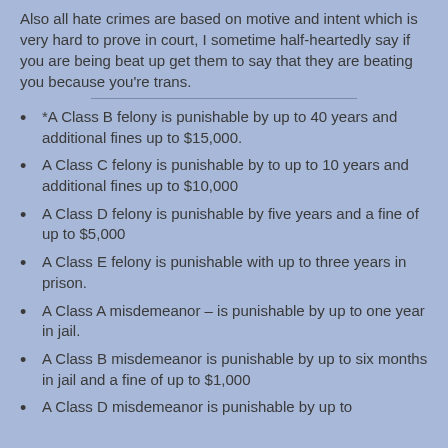Also all hate crimes are based on motive and intent which is very hard to prove in court, I sometime half-heartedly say if you are being beat up get them to say that they are beating you because you're trans.
*A Class B felony is punishable by up to 40 years and additional fines up to $15,000.
A Class C felony is punishable by to up to 10 years and additional fines up to $10,000
A Class D felony is punishable by five years and a fine of up to $5,000
A Class E felony is punishable with up to three years in prison.
A Class A misdemeanor – is punishable by up to one year in jail.
A Class B misdemeanor is punishable by up to six months in jail and a fine of up to $1,000
A Class D misdemeanor is punishable by up to